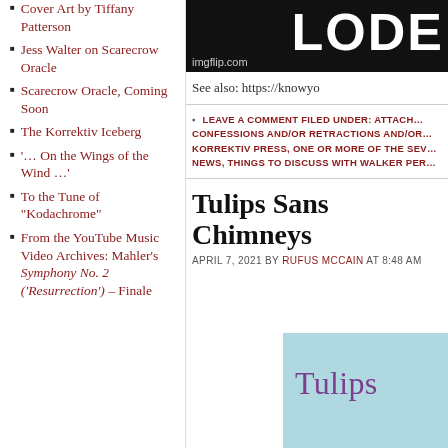Cover Art by Tiffany Patterson
Jess Walter on Scarecrow Oracle
Scarecrow Oracle, Coming Soon
The Korrektiv Iceberg
'… On the Wings of the Wind …'
To the Tune of “Kodachrome”
From the YouTube Music Video Archives: Mahler’s Symphony No. 2 (‘Resurrection’) – Finale
[Figure (screenshot): Dark image with large white text 'LODE' partially visible, with imgflip.com watermark]
See also: https://knowyo...
LEAVE A COMMENT FILED UNDER: ATTACHE... CONFESSIONS AND/OR RETRACTIONS AND/OR... KORREKTIV PRESS, ONE OR MORE OF THE SEV... NEWS, THINGS TO DISCUSS WITH WALKER PER...
Tulips Sans Chimneys
APRIL 7, 2021 BY RUFUS MCCAIN AT 8:48 AM
[Figure (photo): Light blue/teal background image with purple serif text reading 'Tulips' partially visible]